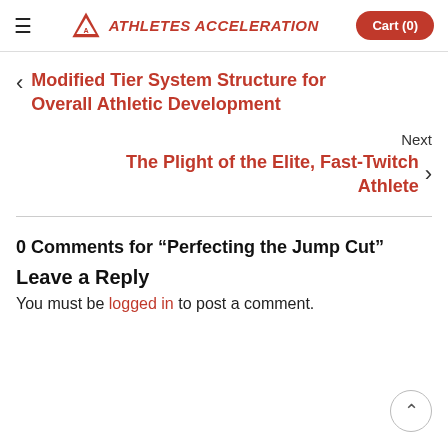Athletes Acceleration | Cart (0)
Modified Tier System Structure for Overall Athletic Development
Next
The Plight of the Elite, Fast-Twitch Athlete
0 Comments for “Perfecting the Jump Cut”
Leave a Reply
You must be logged in to post a comment.